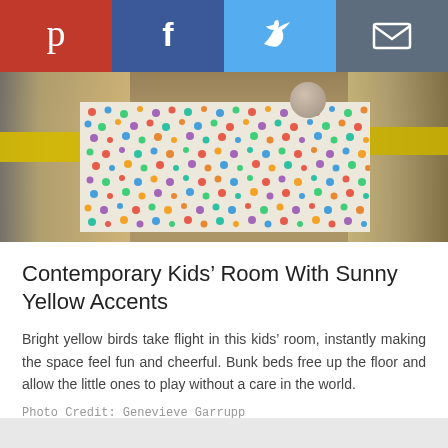[Figure (screenshot): Social sharing bar with Pinterest (red), Facebook (dark blue), Twitter (light blue), and Email (dark gray) buttons]
[Figure (photo): Kids' room with bunk beds, yellow mattress accents, and a colorful multicolored dot rug on the floor]
Contemporary Kids’ Room With Sunny Yellow Accents
Bright yellow birds take flight in this kids’ room, instantly making the space feel fun and cheerful. Bunk beds free up the floor and allow the little ones to play without a care in the world.
Photo Credit: Genevieve Garrupp
From: Nastasi Vail Design